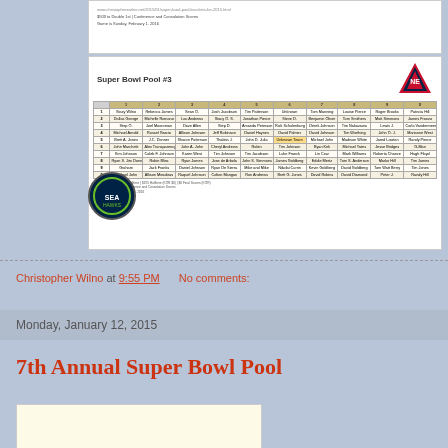[Figure (screenshot): Partial view of a Super Bowl Pool spreadsheet at top of page]
[Figure (screenshot): Super Bowl Pool #3 grid with Patriots logo and Seahawks logo, showing a 10x10 pool grid with participant names]
Christopher Wilno at 9:55 PM    No comments:
Monday, January 12, 2015
7th Annual Super Bowl Pool
[Figure (screenshot): Partial view of another Super Bowl Pool document at bottom of page]